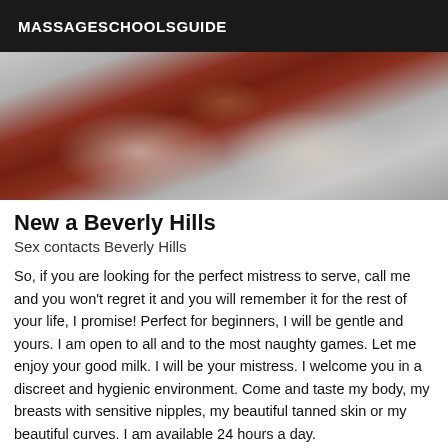MASSAGESCHOOLSGUIDE
[Figure (photo): Close-up photo with mesh/fabric texture and warm reddish-brown tones in center]
New a Beverly Hills
Sex contacts Beverly Hills
So, if you are looking for the perfect mistress to serve, call me and you won't regret it and you will remember it for the rest of your life, I promise! Perfect for beginners, I will be gentle and yours. I am open to all and to the most naughty games. Let me enjoy your good milk. I will be your mistress. I welcome you in a discreet and hygienic environment. Come and taste my body, my breasts with sensitive nipples, my beautiful tanned skin or my beautiful curves. I am available 24 hours a day.
[Figure (photo): Partial photo visible at bottom of page with warm skin tones]